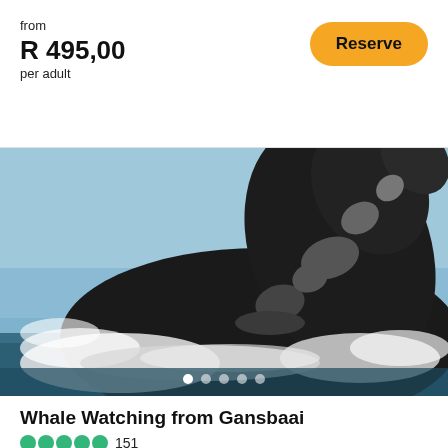from
R 495,00
per adult
Reserve
[Figure (photo): A humpback whale breaching dramatically out of the ocean, shown in black and white tones against a blue sky background, with white water spray splashing around it.]
Whale Watching from Gansbaai
151
By Ivanhoe Sea Safaris
2 hours